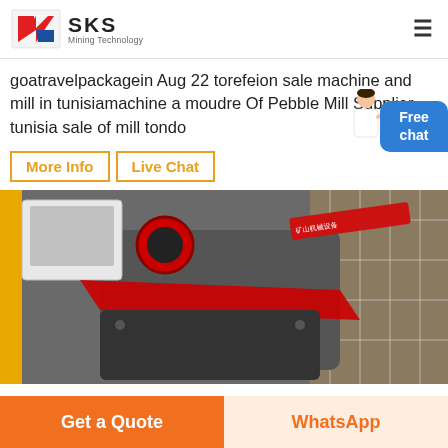SKS Mining Technology
goatravelpackagein Aug 22 torefeion sale machine and mill in tunisiamachine a moudre Of Pebble Mill Supplier tunisia sale of mill tondo
More Info
Live Chat
[Figure (photo): Industrial mining machine (mill) wrapped in plastic, with red belt drive, control panel, and red banner visible, inside a warehouse.]
Get a Quote
WhatsApp